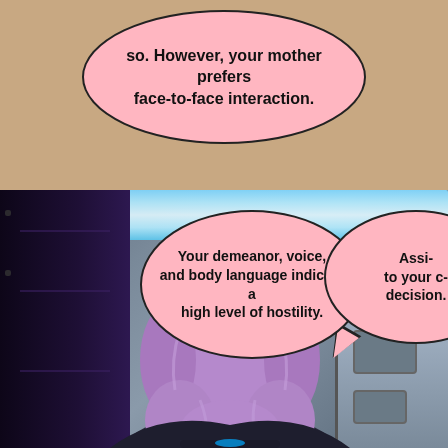[Figure (illustration): Comic book page with two panels. Top panel has a tan/brown background with a speech bubble containing text about face-to-face interaction. Bottom panel shows a sci-fi corridor with a character who has purple/lavender hair viewed from behind, with two speech bubbles — one about demeanor and hostility, and one partially cut off on the right edge.]
so. However, your mother prefers face-to-face interaction.
Your demeanor, voice, and body language indicate a high level of hostility.
Assi- to your c- decision.